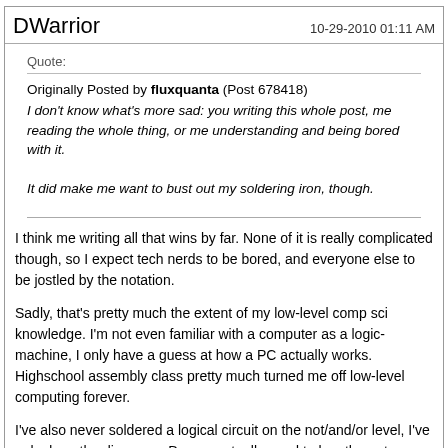DWarrior   10-29-2010 01:11 AM
Quote:
Originally Posted by fluxquanta (Post 678418)
I don't know what's more sad: you writing this whole post, me reading the whole thing, or me understanding and being bored with it.

It did make me want to bust out my soldering iron, though.
I think me writing all that wins by far. None of it is really complicated though, so I expect tech nerds to be bored, and everyone else to be jostled by the notation.

Sadly, that's pretty much the extent of my low-level comp sci knowledge. I'm not even familiar with a computer as a logic-machine, I only have a guess at how a PC actually works. Highschool assembly class pretty much turned me off low-level computing forever.

I've also never soldered a logical circuit on the not/and/or level, I've only done the diagrams. Do you actually need to buy the gates, or are the basic ones easy to make on your own?
fluxquanta   10-29-2010 01:24 AM